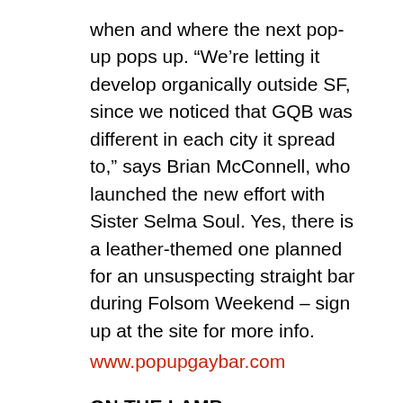when and where the next pop-up pops up. “We’re letting it develop organically outside SF, since we noticed that GQB was different in each city it spread to,” says Brian McConnell, who launched the new effort with Sister Selma Soul. Yes, there is a leather-themed one planned for an unsuspecting straight bar during Folsom Weekend – sign up at the site for more info.
www.popupgaybar.com
ON THE LAMB
Folsom Street Fair organizers made a surprise announcement last week: giant, sheep-shaped Burning Man art car BAAAHS (Big Ass Amazingly Awesome Homosexual Sheep) would make an appearance at this year’s dance stage. Yes, you